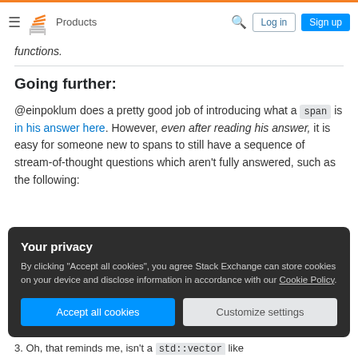≡  [Stack Overflow logo]  Products  🔍  Log in  Sign up
functions.
Going further:
@einpoklum does a pretty good job of introducing what a span is in his answer here. However, even after reading his answer, it is easy for someone new to spans to still have a sequence of stream-of-thought questions which aren't fully answered, such as the following:
Your privacy
By clicking "Accept all cookies", you agree Stack Exchange can store cookies on your device and disclose information in accordance with our Cookie Policy.
Accept all cookies  Customize settings
3. Oh, that reminds me, isn't a  std::vector  like